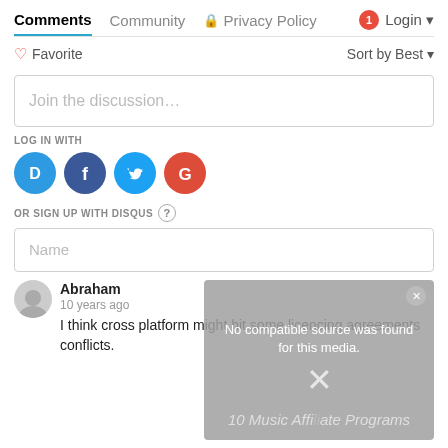Comments  Community  🔒 Privacy Policy  1 Login
♡ Favorite    Sort by Best
Join the discussion…
LOG IN WITH
[Figure (infographic): Social login icons: Disqus (blue), Facebook (dark blue), Twitter (light blue), Google (red)]
OR SIGN UP WITH DISQUS ?
Name
Abraham
10 years ago
I think cross platform might hit some licencing agreements conflicts.
[Figure (screenshot): Video player overlay showing 'No compatible source was found for this media.' with watermark '10 Music Affiliate Programs' and an X close button]